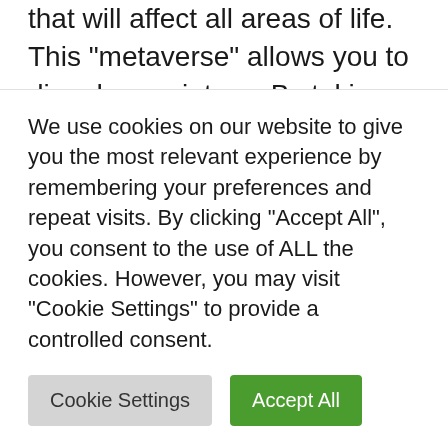that will affect all areas of life. This “metaverse” allows you to dive deeper into … By taking an interest in Metaverse, Mark Zuckerberg announces a new technological revolution that will affect all areas of life. This “metaverse” will make it possible to dive … Read more
metaverse
Cryptocurrency, Decentraland, metaverse
We use cookies on our website to give you the most relevant experience by remembering your preferences and repeat visits. By clicking “Accept All”, you consent to the use of ALL the cookies. However, you may visit "Cookie Settings" to provide a controlled consent.